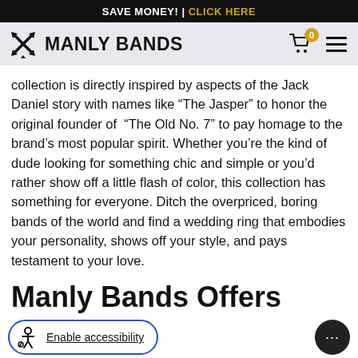SAVE MONEY! | CLICK HERE
[Figure (logo): Manly Bands logo with crossed tools icon and brand name text]
collection is directly inspired by aspects of the Jack Daniel story with names like “The Jasper” to honor the original founder of “The Old No. 7” to pay homage to the brand’s most popular spirit. Whether you’re the kind of dude looking for something chic and simple or you’d rather show off a little flash of color, this collection has something for everyone. Ditch the overpriced, boring bands of the world and find a wedding ring that embodies your personality, shows off your style, and pays testament to your love.
Manly Bands Offers Superior